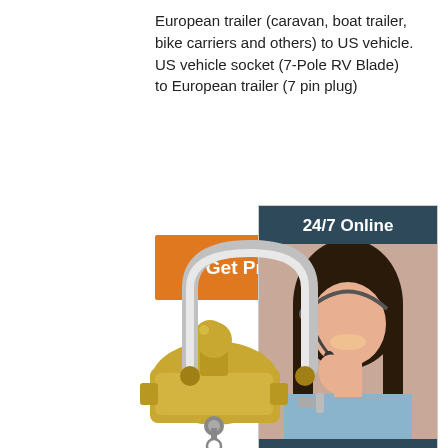European trailer (caravan, boat trailer, bike carriers and others) to US vehicle. US vehicle socket (7-Pole RV Blade) to European trailer (7 pin plug)
[Figure (other): Orange button labeled 'Get Price']
[Figure (other): Sidebar advertisement with '24/7 Online' header, photo of smiling woman with headset, 'Click here for free chat!' text, and orange QUOTATION button]
[Figure (photo): Yellow/gold trailer hitch ball coupler lock with chrome U-shaped shackle and key]